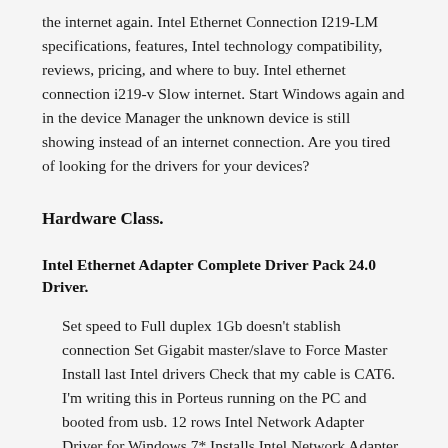the internet again. Intel Ethernet Connection I219-LM specifications, features, Intel technology compatibility, reviews, pricing, and where to buy. Intel ethernet connection i219-v Slow internet. Start Windows again and in the device Manager the unknown device is still showing instead of an internet connection. Are you tired of looking for the drivers for your devices?
Hardware Class.
Intel Ethernet Adapter Complete Driver Pack 24.0 Driver.
Set speed to Full duplex 1Gb doesn't stablish connection Set Gigabit master/slave to Force Master Install last Intel drivers Check that my cable is CAT6. I'm writing this in Porteus running on the PC and booted from usb. 12 rows Intel Network Adapter Driver for Windows 7* Installs Intel Network Adapter drivers release 25.0 for Windows 7*. The only issue was my Intel I217-V network adaptor didn't work after the Windows 10 upgrade.